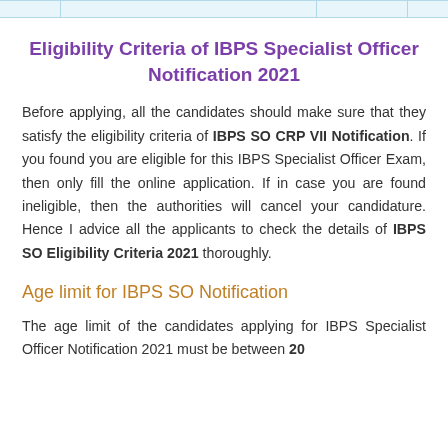|  |
Eligibility Criteria of IBPS Specialist Officer Notification 2021
Before applying, all the candidates should make sure that they satisfy the eligibility criteria of IBPS SO CRP VII Notification. If you found you are eligible for this IBPS Specialist Officer Exam, then only fill the online application. If in case you are found ineligible, then the authorities will cancel your candidature. Hence I advice all the applicants to check the details of IBPS SO Eligibility Criteria 2021 thoroughly.
Age limit for IBPS SO Notification
The age limit of the candidates applying for IBPS Specialist Officer Notification 2021 must be between 20